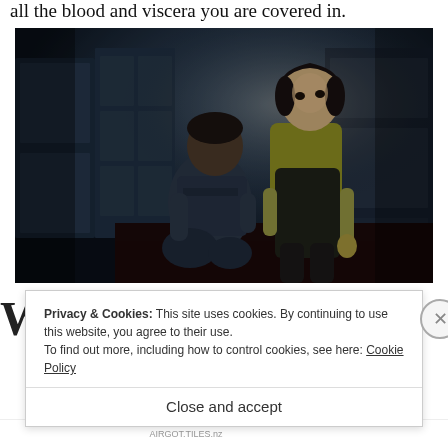all the blood and viscera you are covered in.
[Figure (screenshot): Dark video game screenshot showing two characters in a dim room — a crouching adult figure and a standing young girl in a yellow long-sleeve shirt and dark dress, set in a dark blue-toned interior environment.]
W
Privacy & Cookies: This site uses cookies. By continuing to use this website, you agree to their use.
To find out more, including how to control cookies, see here: Cookie Policy
Close and accept